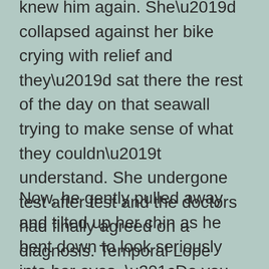knew him again. She'd collapsed against her bike crying with relief and they'd sat there the rest of the day on that seawall trying to make sense of what they couldn't understand. She undergone test after test and the doctors had finally agreed on a diagnosis. Temporal Lope Epilepsy. Probably as a result of oxygen deprivation at birth and something they would have to learn to live with.
Now, he gently pulled away and tilted up her chin as he bent down to look seriously into her eyes. “Do you know what this calls for?” he asked wriggling his eyebrows suggestively.